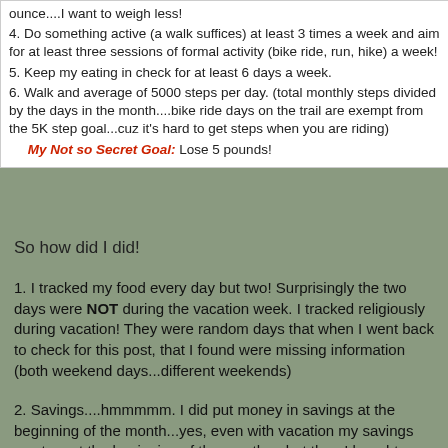ounce....I want to weigh less!
4.  Do something active (a walk suffices) at least 3 times a week and aim for at least three sessions of formal activity (bike ride, run, hike) a week!
5. Keep my eating in check for at least 6 days a week.
6.  Walk and average of 5000 steps  per day. (total monthly steps divided by the days in the month....bike ride days on the trail are exempt from the 5K step goal...cuz it's hard to get  steps when you are riding)
My Not so Secret Goal:   Lose 5 pounds!
So how did I did!
1.  I tracked my food every day but two!  Surprisingly the two days were NOT during the vacation week. I tracked religiously during vacation!  They were random days that when I went back to check for this post, that I found were missing information (both weekend days...different weekends)
2. Savings....hmmmmm.   I did put money in savings at the beginning of the month...yes, even with vacation my savings went up at the beginning of the month.....but then I bought a